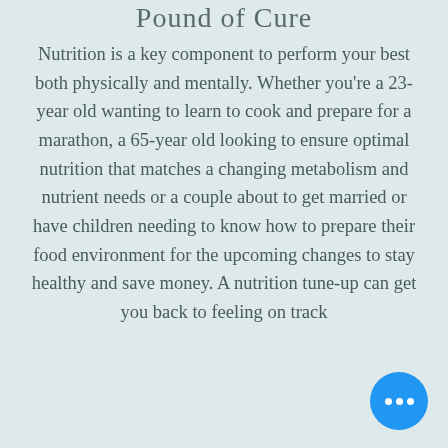Pound of Cure
Nutrition is a key component to perform your best both physically and mentally. Whether you're a 23-year old wanting to learn to cook and prepare for a marathon, a 65-year old looking to ensure optimal nutrition that matches a changing metabolism and nutrient needs or a couple about to get married or have children needing to know how to prepare their food environment for the upcoming changes to stay healthy and save money. A nutrition tune-up can get you back to feeling on track